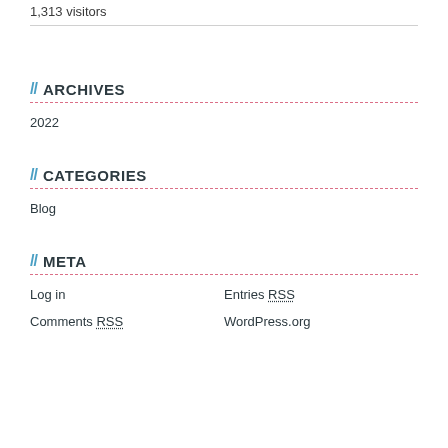1,313 visitors
// ARCHIVES
2022
// CATEGORIES
Blog
// META
Log in
Entries RSS
Comments RSS
WordPress.org